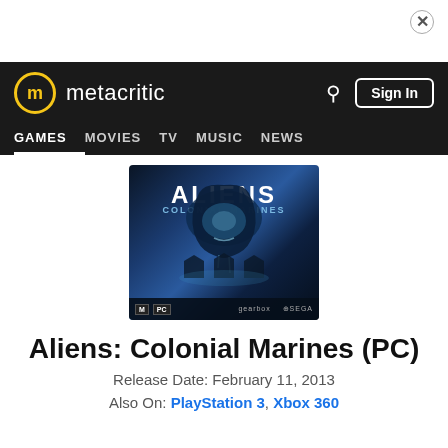[Figure (screenshot): Metacritic website navigation bar with logo, search icon, Sign In button, and nav items: GAMES (active), MOVIES, TV, MUSIC, NEWS]
[Figure (photo): Aliens: Colonial Marines PC game box art cover showing alien creature in blue/dark tones with title text, M rating, Gearbox and SEGA logos]
Aliens: Colonial Marines (PC)
Release Date: February 11, 2013
Also On: PlayStation 3, Xbox 360